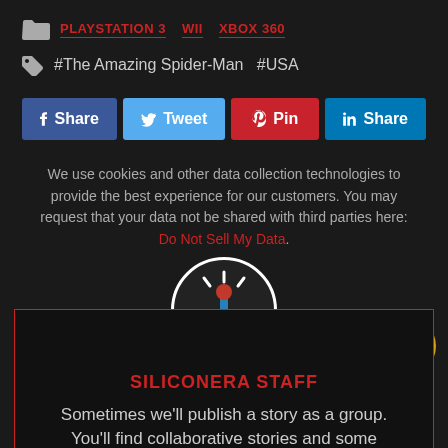PLAYSTATION 3  WII  XBOX 360
#The Amazing Spider-Man  #USA
Share  Tweet  Pin  Share
We use cookies and other data collection technologies to provide the best experience for our customers. You may request that your data not be shared with third parties here: Do Not Sell My Data.
[Figure (logo): Siliconera joystick logo in a white circle]
[Figure (logo): Gold badge/award icon]
SILICONERA STAFF
Sometimes we'll publish a story as a group. You'll find collaborative stories and some